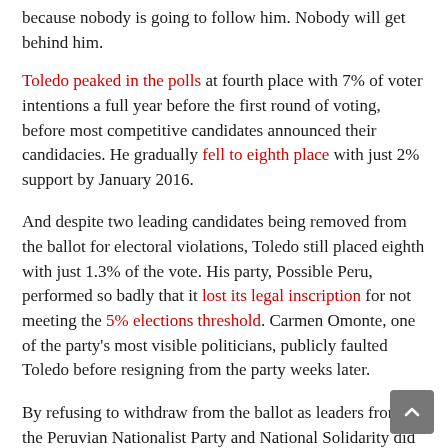because nobody is going to follow him. Nobody will get behind him.
Toledo peaked in the polls at fourth place with 7% of voter intentions a full year before the first round of voting, before most competitive candidates announced their candidacies. He gradually fell to eighth place with just 2% support by January 2016.
And despite two leading candidates being removed from the ballot for electoral violations, Toledo still placed eighth with just 1.3% of the vote. His party, Possible Peru, performed so badly that it lost its legal inscription for not meeting the 5% elections threshold. Carmen Omonte, one of the party's most visible politicians, publicly faulted Toledo before resigning from the party weeks later.
By refusing to withdraw from the ballot as leaders from the Peruvian Nationalist Party and National Solidarity did to avoid losing their inscription, Toledo has effectively run Possible Peru into the ground. The party must now obtain 500,000 signatures as its founder, on the run and facing jail, to earn its inscription.
"The moral damage is immeasurable because Toledo was the first